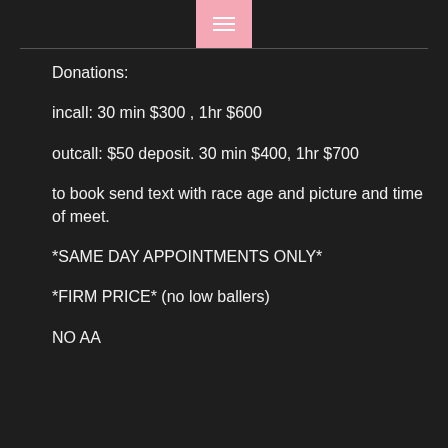≡
Donations:
incall: 30 min $300 , 1hr $600
outcall: $50 deposit. 30 min $400, 1hr $700
to book send text with race age and picture and time of meet.
*SAME DAY APPOINTMENTS ONLY*
*FIRM PRICE* (no low ballers)
NO AA